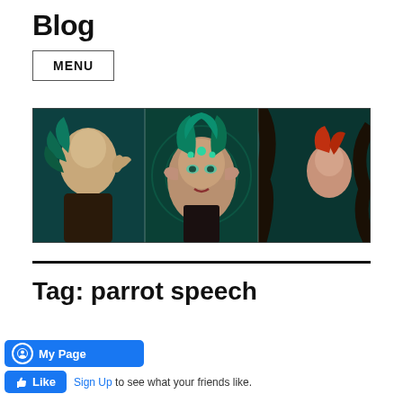Blog
MENU
[Figure (illustration): A banner image with three fantasy elf/fairy characters against a dark teal/green forest background. Left: a blonde elf with feathered accessories. Center: a green-haired elf with jeweled forehead ornament. Right: a red-haired girl peeking from behind dark tree roots.]
Tag: parrot speech
[Figure (other): Facebook 'My Page' button in blue]
Sign Up to see what your friends like.